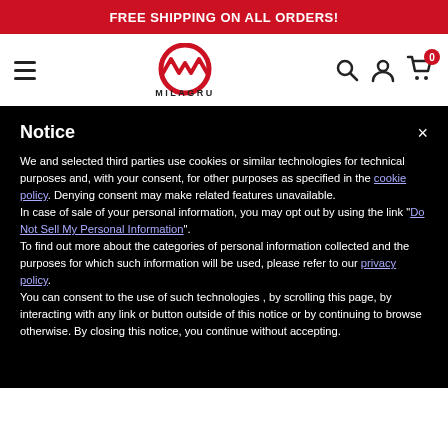FREE SHIPPING ON ALL ORDERS!
[Figure (logo): MILAGRU logo with red circular M icon and hamburger menu, search, account, and cart icons]
Notice
We and selected third parties use cookies or similar technologies for technical purposes and, with your consent, for other purposes as specified in the cookie policy. Denying consent may make related features unavailable.
In case of sale of your personal information, you may opt out by using the link "Do Not Sell My Personal Information".
To find out more about the categories of personal information collected and the purposes for which such information will be used, please refer to our privacy policy.
You can consent to the use of such technologies , by scrolling this page, by interacting with any link or button outside of this notice or by continuing to browse otherwise. By closing this notice, you continue without accepting.